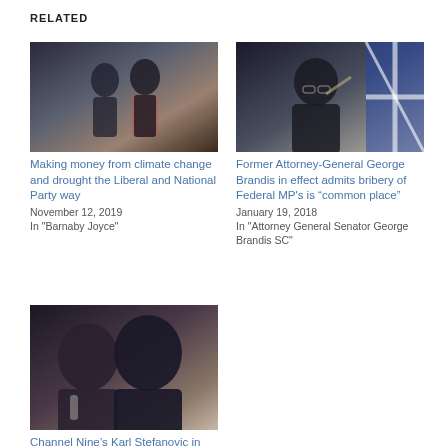RELATED
[Figure (photo): Two men in suits shaking hands at a political event]
Making money from climate change and drought the Liberal and National Party way
November 12, 2019
In "Barnaby Joyce"
[Figure (photo): Former Attorney-General George Brandis pointing finger in front of Australian flag]
Former Attorney-General George Brandis in effect admits bribery of Federal MP's is “common place”
January 19, 2018
In "Attorney General Senator George Brandis SC"
[Figure (photo): Malcolm Turnbull and Karl Stefanovic speaking at a media event]
Channel Nine’s Karl Stefanovic in cash-for-